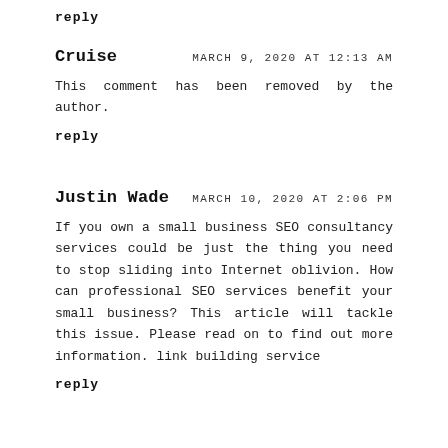reply
Cruise
MARCH 9, 2020 AT 12:13 AM
This comment has been removed by the author.
reply
Justin Wade
MARCH 10, 2020 AT 2:06 PM
If you own a small business SEO consultancy services could be just the thing you need to stop sliding into Internet oblivion. How can professional SEO services benefit your small business? This article will tackle this issue. Please read on to find out more information. link building service
reply